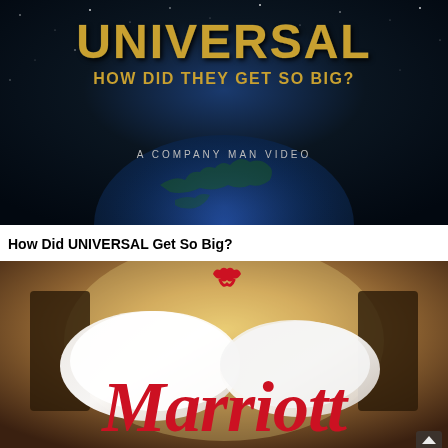[Figure (screenshot): Dark space/night sky background with globe and text: UNIVERSAL in large golden letters, HOW DID THEY GET SO BIG? below, and A COMPANY MAN VIDEO subtitle]
How Did UNIVERSAL Get So Big?
[Figure (photo): Marriott logo in red italic serif font overlaid on a hotel room background with white pillows and warm lighting. Red Marriott logo mark (flame/bird symbol) above the text.]